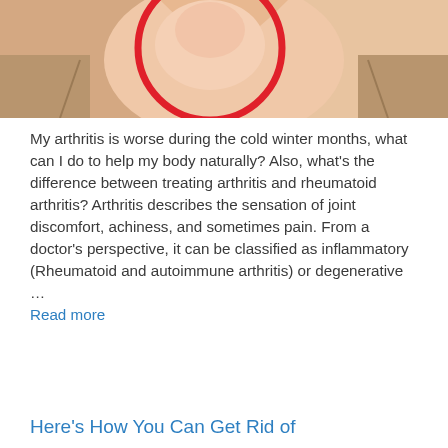[Figure (illustration): Medical illustration showing a person's neck/shoulder area with a red circle highlighting a joint area, with skin tones in pink and beige, suggesting arthritis joint pain location]
My arthritis is worse during the cold winter months, what can I do to help my body naturally? Also, what’s the difference between treating arthritis and rheumatoid arthritis? Arthritis describes the sensation of joint discomfort, achiness, and sometimes pain. From a doctor’s perspective, it can be classified as inflammatory (Rheumatoid and autoimmune arthritis) or degenerative … Read more
Here’s How You Can Get Rid of